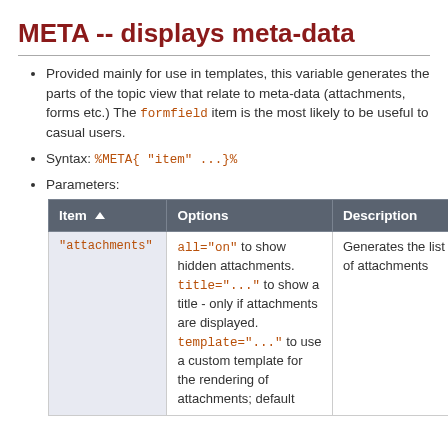META -- displays meta-data
Provided mainly for use in templates, this variable generates the parts of the topic view that relate to meta-data (attachments, forms etc.) The formfield item is the most likely to be useful to casual users.
Syntax: %META{ "item" ...}%
Parameters:
| Item | Options | Description |
| --- | --- | --- |
| "attachments" | all="on" to show hidden attachments. title="..." to show a title - only if attachments are displayed. template="..." to use a custom template for the rendering of attachments; default | Generates the list of attachments |